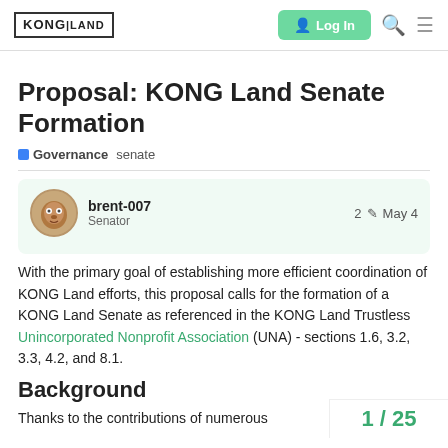KONG LAND | Log In
Proposal: KONG Land Senate Formation
Governance   senate
brent-007   Senator   2   May 4
With the primary goal of establishing more efficient coordination of KONG Land efforts, this proposal calls for the formation of a KONG Land Senate as referenced in the KONG Land Trustless Unincorporated Nonprofit Association (UNA) - sections 1.6, 3.2, 3.3, 4.2, and 8.1.
Background
Thanks to the contributions of numerous
1 / 25